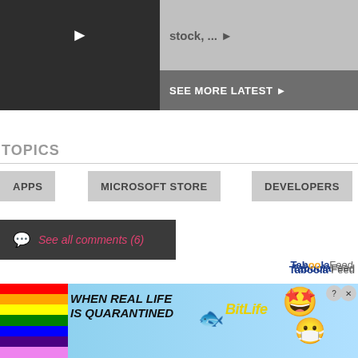[Figure (screenshot): Top partial UI section with dark left panel showing play arrow, and right gray panel showing 'stock, ... ►']
SEE MORE LATEST ►
TOPICS
APPS
MICROSOFT STORE
DEVELOPERS
See all comments (6)
Taboola Feed
[Figure (screenshot): BitLife advertisement banner: 'WHEN REAL LIFE IS QUARANTINED' with rainbow, sperm, BitLife logo, emoji characters, face mask emoji, and close/help buttons]